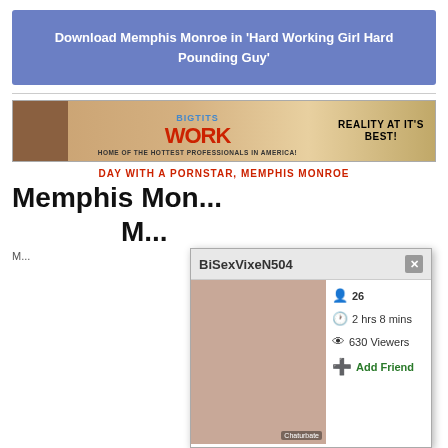Download Memphis Monroe in 'Hard Working Girl Hard Pounding Guy'
[Figure (screenshot): BigTitsAtWork banner advertisement - HOME OF THE HOTTEST PROFESSIONALS IN AMERICA! REALITY AT IT'S BEST!]
DAY WITH A PORNSTAR, MEMPHIS MONROE
Memphis Monroe - Memphis Mo...
[Figure (screenshot): Chaturbate popup overlay showing user BiSexVixeN504, age 26, 2 hrs 8 mins, 630 Viewers, Add Friend]